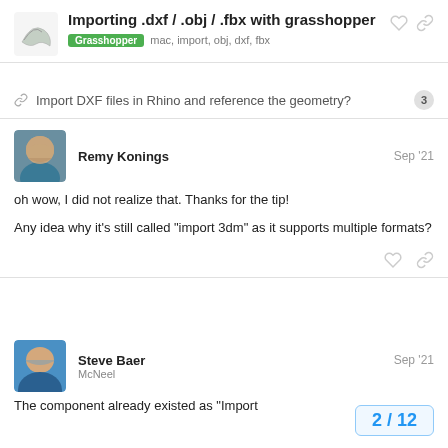Importing .dxf / .obj / .fbx with grasshopper
Grasshopper  mac, import, obj, dxf, fbx
🔗 Import DXF files in Rhino and reference the geometry?  3
Remy Konings   Sep '21
oh wow, I did not realize that. Thanks for the tip!

Any idea why it's still called “import 3dm” as it supports multiple formats?
Steve Baer
McNeel   Sep '21
The component already existed as “Import
2 / 12